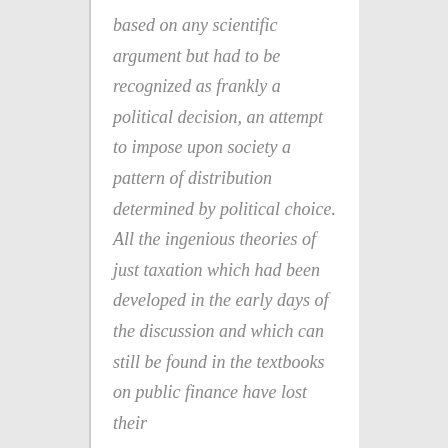based on any scientific argument but had to be recognized as frankly a political decision, an attempt to impose upon society a pattern of distribution determined by political choice. All the ingenious theories of just taxation which had been developed in the early days of the discussion and which can still be found in the textbooks on public finance have lost their